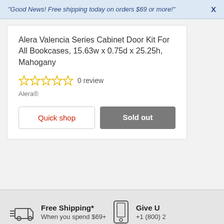"Good News! Free shipping today on orders $69 or more!"  X
Alera Valencia Series Cabinet Door Kit For All Bookcases, 15.63w x 0.75d x 25.25h, Mahogany
0 review
Alera®
Quick shop
Sold out
Free Shipping*
When you spend $69+
Give U
+1 (800) 2